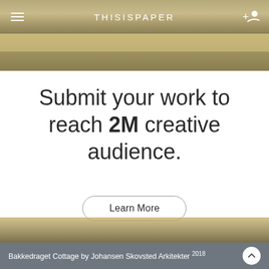THISISPAPER
Submit your work to reach 2M creative audience.
Learn More
Bakkedraget Cottage by Johansen Skovsted Arkitekter 2018